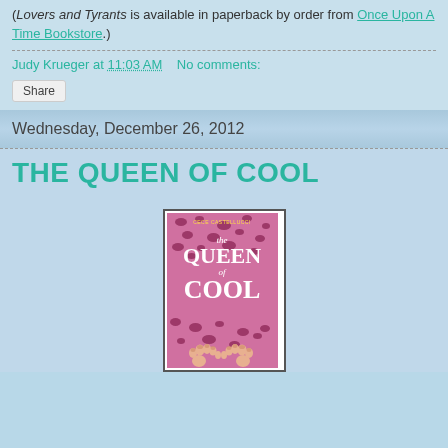(Lovers and Tyrants is available in paperback by order from Once Upon A Time Bookstore.)
Judy Krueger at 11:03 AM   No comments:
Share
Wednesday, December 26, 2012
THE QUEEN OF COOL
[Figure (photo): Book cover of 'The Queen of Cool' by Cece Castellucci, featuring a pink leopard print background with bare feet at the bottom and white title text.]